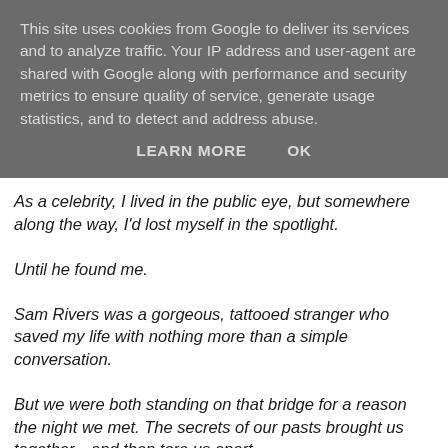This site uses cookies from Google to deliver its services and to analyze traffic. Your IP address and user-agent are shared with Google along with performance and security metrics to ensure quality of service, generate usage statistics, and to detect and address abuse.
LEARN MORE   OK
As a celebrity, I lived in the public eye, but somewhere along the way, I'd lost myself in the spotlight.
Until he found me.
Sam Rivers was a gorgeous, tattooed stranger who saved my life with nothing more than a simple conversation.
But we were both standing on that bridge for a reason the night we met. The secrets of our pasts brought us together—and then tore us apart.
Could we find a reason to hold on as life constantly pulled us down?